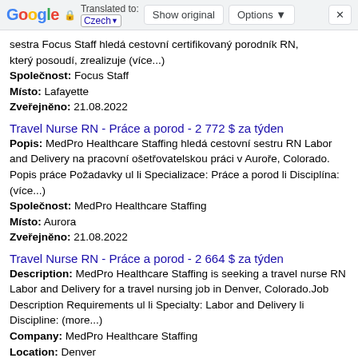Google | Translated to: Czech | Show original | Options | X
sestra Focus Staff hledá cestovní certifikovaný porodník RN, který posoudí, zrealizuje (více...)
Společnost: Focus Staff
Místo: Lafayette
Zveřejněno: 21.08.2022
Travel Nurse RN - Práce a porod - 2 772 $ za týden
Popis: MedPro Healthcare Staffing hledá cestovní sestru RN Labor and Delivery na pracovní ošetřovatelskou práci v Auroře, Colorado. Popis práce Požadavky ul li Specializace: Práce a porod li Disciplína: (více...)
Společnost: MedPro Healthcare Staffing
Místo: Aurora
Zveřejněno: 21.08.2022
Travel Nurse RN - Práce a porod - 2 664 $ za týden
Description: MedPro Healthcare Staffing is seeking a travel nurse RN Labor and Delivery for a travel nursing job in Denver, Colorado.Job Description Requirements ul li Specialty: Labor and Delivery li Discipline: (more...)
Company: MedPro Healthcare Staffing
Location: Denver
Posted on: 2022-08-25
CDL Delivery Truck Driver (7195)